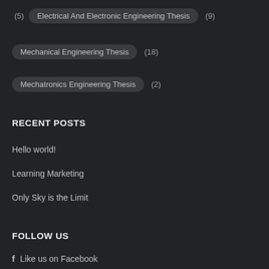(5)  Electrical And Electronic Engineering Thesis  (9)
Mechanical Engineering Thesis  (18)
Mechatronics Engineering Thesis  (2)
RECENT POSTS
Hello world!
Learning Marketing
Only Sky is the Limit
FOLLOW US
f  Like us on Facebook